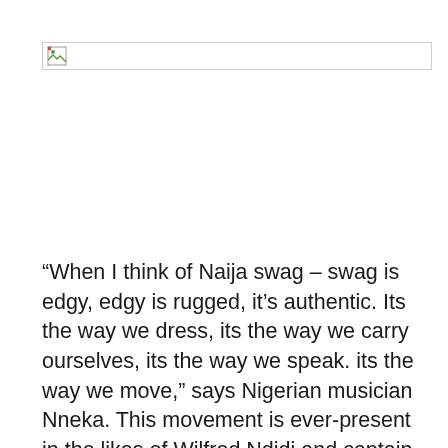[Figure (other): Broken/missing image placeholder with border and broken image icon]
“When I think of Naija swag – swag is edgy, edgy is rugged, it’s authentic. Its the way we dress, its the way we carry ourselves, its the way we speak. its the way we move,” says Nigerian musician Nneka. This movement is ever-present in the likes of Wilfred Ndidi and captain John Obi Mikel, but also in rising musical and creative talents such as